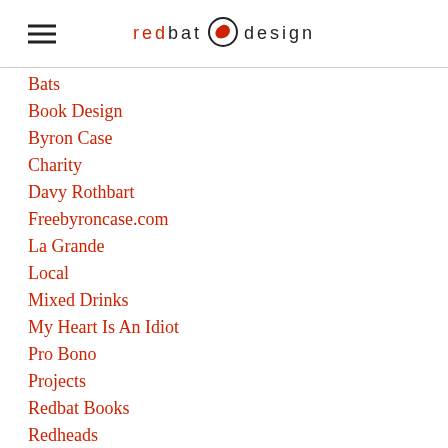redbat design
Bats
Book Design
Byron Case
Charity
Davy Rothbart
Freebyroncase.com
La Grande
Local
Mixed Drinks
My Heart Is An Idiot
Pro Bono
Projects
Redbat Books
Redheads
Small Press
The Pariah's Syntax
Wine